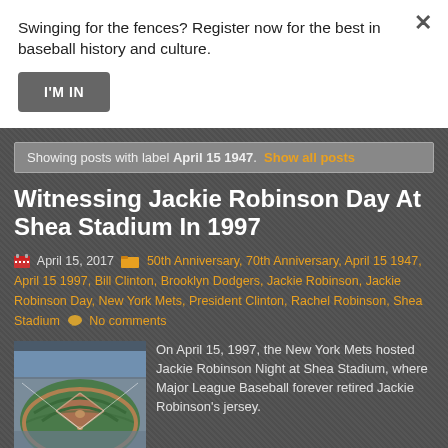Swinging for the fences? Register now for the best in baseball history and culture.
I'M IN
Showing posts with label April 15 1947. Show all posts
Witnessing Jackie Robinson Day At Shea Stadium In 1997
April 15, 2017  50th Anniversary, 70th Anniversary, April 15 1947, April 15 1997, Bill Clinton, Brooklyn Dodgers, Jackie Robinson, Jackie Robinson Day, New York Mets, President Clinton, Rachel Robinson, Shea Stadium  No comments
[Figure (photo): Aerial view of Shea Stadium baseball field]
On April 15, 1997, the New York Mets hosted Jackie Robinson Night at Shea Stadium, where Major League Baseball forever retired Jackie Robinson's jersey.